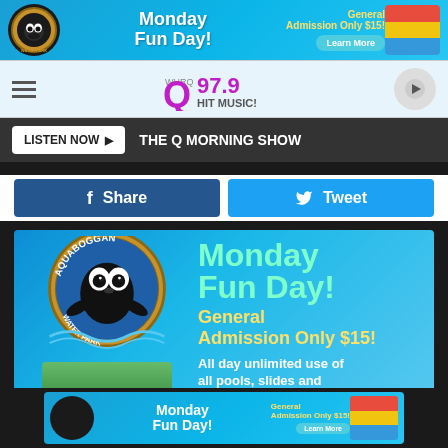[Figure (infographic): Aquaboggan Water Park top banner ad — Monday Fun Day! General Admission Only $15! Learn More button, colorful water slide image on right.]
[Figure (logo): WHRQ Q97.9 Hit Music! radio station logo in header bar with hamburger menu and play button]
LISTEN NOW ▶  THE Q MORNING SHOW
f  Share
Tweet
[Figure (infographic): Large Aquaboggan Water Park ad — Monday Fun Day! General Admission Only $15! All day unlimited use of all pools, slides and mini-golf (normally $28). Shows seal mascot logo and pool photo.]
[Figure (infographic): Aquaboggan Water Park bottom banner ad — Monday Fun Day! General Admission Only $15! Learn More button, colorful water slide image on right.]